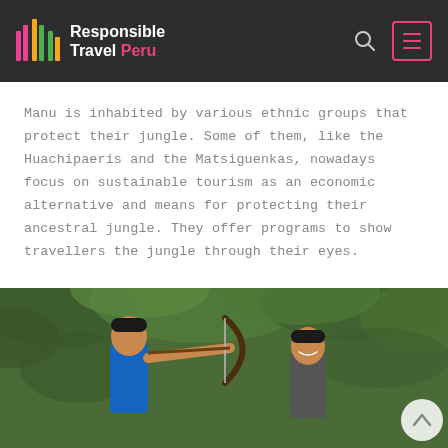Responsible Travel Peru
Manu is inhabited by various ethnic groups that protect their jungle. Some of them, like the Huachipaeris and the Matsiguenkas, nowadays focus on sustainable tourism as an economic alternative and means for protecting their ancestral jungle. They offer programs to show travellers the jungle through their eyes.
[Figure (photo): Two men practicing archery with bows in a jungle setting with green foliage in the background.]